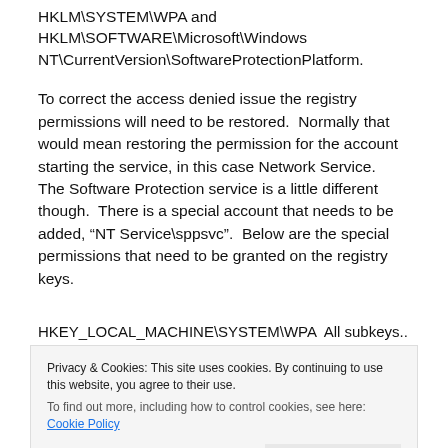HKLM\SYSTEM\WPA and HKLM\SOFTWARE\Microsoft\Windows NT\CurrentVersion\SoftwareProtectionPlatform.
To correct the access denied issue the registry permissions will need to be restored.  Normally that would mean restoring the permission for the account starting the service, in this case Network Service.  The Software Protection service is a little different though.  There is a special account that needs to be added, “NT Service\sppsvc”.  Below are the special permissions that need to be granted on the registry keys.
HKEY_LOCAL_MACHINE\SYSTEM\WPA  All subkeys...
Privacy & Cookies: This site uses cookies. By continuing to use this website, you agree to their use.
To find out more, including how to control cookies, see here: Cookie Policy
Enumerate Subkeys